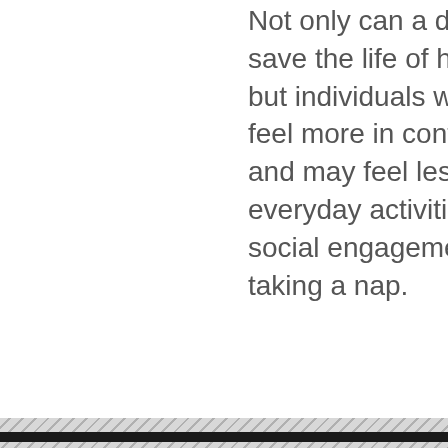Not only can a diabetes service dog save the life of his or her companion, but individuals with diabetes may feel more in control of their diabetes and may feel less afraid to partake in everyday activities such as work, social engagements, and even taking a nap.
[Figure (photo): Photo of colorful vegetables including tomatoes, peppers, avocado, garlic and herbs with a glucose meter, overlaid with date MAR 30 and a NUTRITION badge]
NUTRITION IDEAS FOR CHILDREN
...ever easy, but or your kids is nd if your kids ngs get even s can be picky tances, and n't have the mental abilities yet to